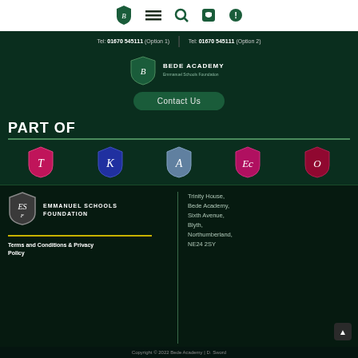[Figure (logo): Bede Academy shield logo in green, navigation bar icons: hamburger menu, search, phone, info]
Tel: 01670 545111 (Option 1) | Tel: 01670 545111 (Option 2)
[Figure (logo): Bede Academy logo with shield and text 'BEDE ACADEMY Emmanuel Schools Foundation']
Contact Us
PART OF
[Figure (logo): Five school shield logos in a row: pink/red, blue/purple, light blue/grey, pink/magenta, dark pink/crimson]
[Figure (logo): Emmanuel Schools Foundation shield logo (grey/silver)]
EMMANUEL SCHOOLS FOUNDATION
Trinity House, Bede Academy, Sixth Avenue, Blyth, Northumberland, NE24 2SY
Terms and Conditions & Privacy Policy
Copyright © 2022 Bede Academy | D. Sword